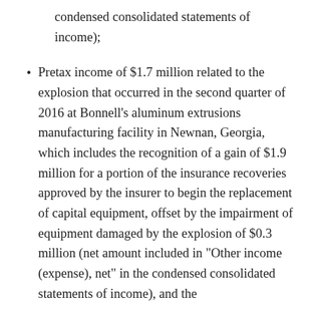condensed consolidated statements of income);
Pretax income of $1.7 million related to the explosion that occurred in the second quarter of 2016 at Bonnell’s aluminum extrusions manufacturing facility in Newnan, Georgia, which includes the recognition of a gain of $1.9 million for a portion of the insurance recoveries approved by the insurer to begin the replacement of capital equipment, offset by the impairment of equipment damaged by the explosion of $0.3 million (net amount included in “Other income (expense), net” in the condensed consolidated statements of income), and the